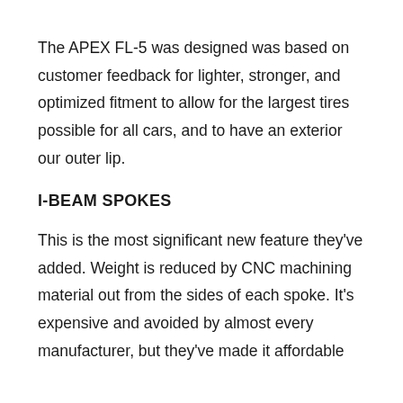The APEX FL-5 was designed was based on customer feedback for lighter, stronger, and optimized fitment to allow for the largest tires possible for all cars, and to have an exterior our outer lip.
I-BEAM SPOKES
This is the most significant new feature they've added. Weight is reduced by CNC machining material out from the sides of each spoke. It's expensive and avoided by almost every manufacturer, but they've made it affordable through...